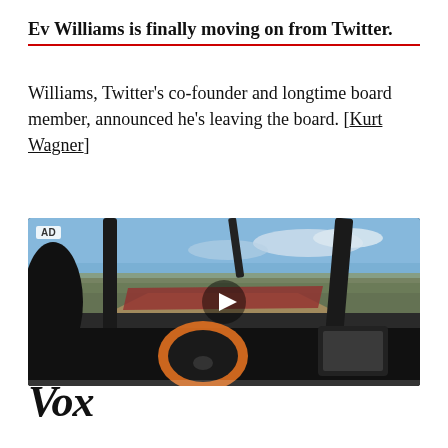Ev Williams is finally moving on from Twitter.
Williams, Twitter's co-founder and longtime board member, announced he's leaving the board. [Kurt Wagner]
[Figure (photo): Video thumbnail showing interior view of a racing car cockpit with orange steering wheel and dashboard, track visible through windshield, desert landscape and blue sky in background. AD badge visible top left. Play button in center.]
Vox